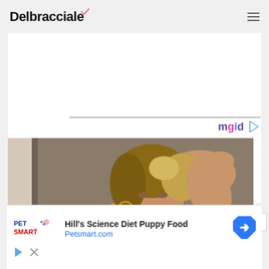Delbracciale
[Figure (screenshot): mgid advertisement widget divider with logo showing purple/pink/blue colored text 'mgid' and a play button triangle icon]
[Figure (photo): Woman with highlighted blonde hair posing with one arm raised above her head, wearing hoop earrings and a necklace, in a red outfit, selfie-style photo]
[Figure (screenshot): PetSmart advertisement banner: Hill's Science Diet Puppy Food, Petsmart.com, with PetSmart logo on left and blue navigation arrow icon on right]